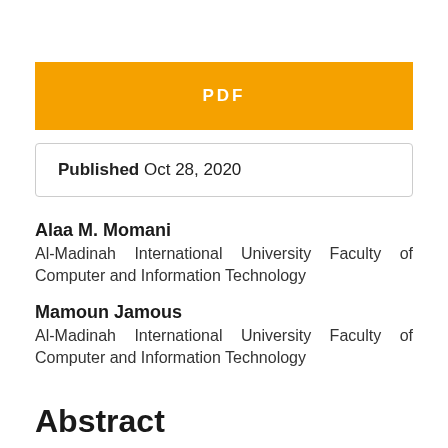[Figure (other): Orange banner with white bold text reading 'PDF']
Published Oct 28, 2020
Alaa M. Momani
Al-Madinah International University Faculty of Computer and Information Technology
Mamoun Jamous
Al-Madinah International University Faculty of Computer and Information Technology
Abstract